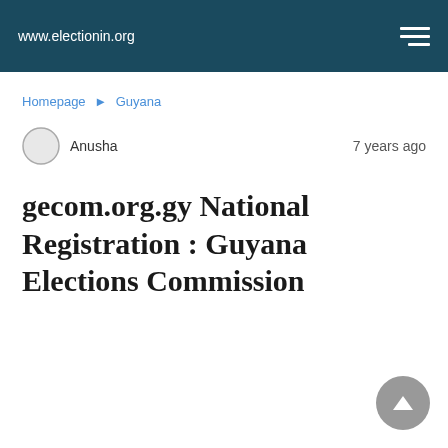www.electionin.org
Homepage ► Guyana
Anusha   7 years ago
gecom.org.gy National Registration : Guyana Elections Commission